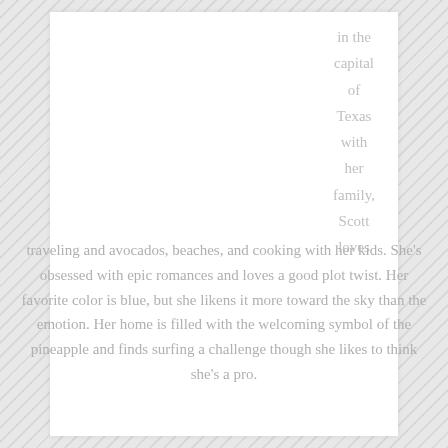in the capital of Texas with her family, Scott loves
traveling and avocados, beaches, and cooking with her kids. She's obsessed with epic romances and loves a good plot twist. Her favorite color is blue, but she likens it more toward the sky than the emotion. Her home is filled with the welcoming symbol of the pineapple and finds surfing a challenge though she likes to think she's a pro.